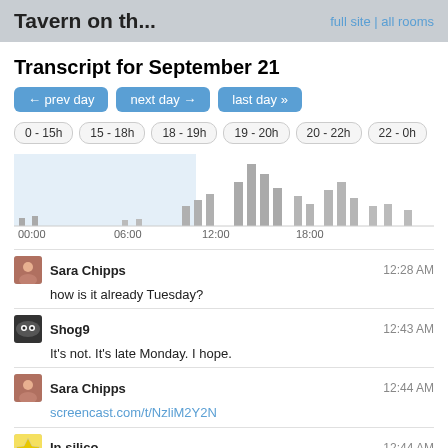Tavern on th...   full site | all rooms
Transcript for September 21
← prev day  next day →  last day »
0 - 15h  15 - 18h  18 - 19h  19 - 20h  20 - 22h  22 - 0h
[Figure (bar-chart): Activity over time]
Sara Chipps — 12:28 AM
how is it already Tuesday?
Shog9 — 12:43 AM
It's not. It's late Monday. I hope.
Sara Chipps — 12:44 AM
screencast.com/t/NzliM2Y2N
In silico — 12:44 AM
The current UTC time (which is what the Stack Exchange software uses) as of this writing is: Tuesday, September 21, 2010 at 00:44:30. So it is in fact Tuesday (in certain parts of the world)